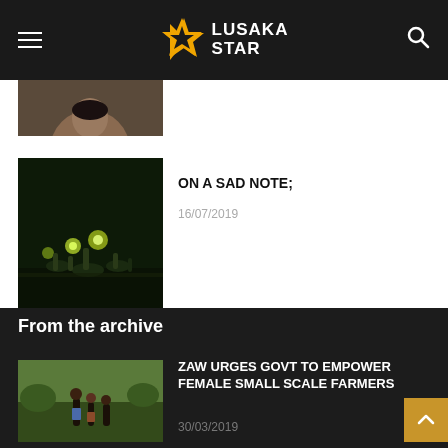Lusaka Star
[Figure (photo): Partial image of a person's face at the top of article listing]
ON A SAD NOTE;
16/07/2019
[Figure (photo): Night scene photo showing people gathered outdoors with lights]
Load more
From the archive
[Figure (photo): Farm workers in a field, women farmers working the land]
ZAW URGES GOVT TO EMPOWER FEMALE SMALL SCALE FARMERS
30/03/2019